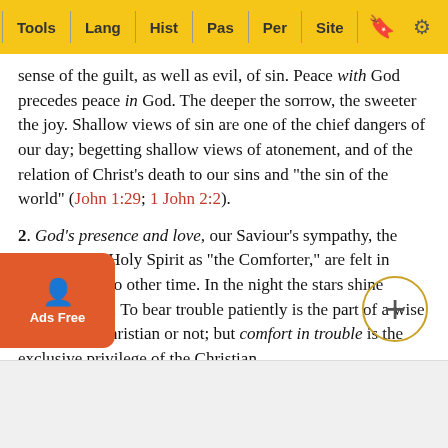Tools | Lang | Hist | Pas | Per | Site
sense of the guilt, as well as evil, of sin. Peace with God precedes peace in God. The deeper the sorrow, the sweeter the joy. Shallow views of sin are one of the chief dangers of our day; begetting shallow views of atonement, and of the relation of Christ's death to our sins and "the sin of the world" (John 1:29; 1 John 2:2).
2. God's presence and love, our Saviour's sympathy, the power of the Holy Spirit as "the Comforter," are felt in trouble as at no other time. In the night the stars shine (Psalms 46:1). To bear trouble patiently is the part of a wise brave man, Christian or not; but comfort in trouble is the exclusive privilege of the Christian.
3. The discipline of sorrow produces rich fruits—strong…, deeper humility, a new sense of the value of prayer and the preciousness of God's promises; patience, courage, detac… es 1:2, Ja… 0);